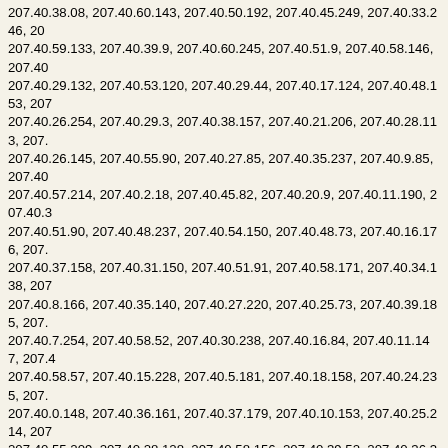207.40.38.08, 207.40.60.143, 207.40.50.192, 207.40.45.249, 207.40.33.246, 207.40.59.133, 207.40.39.9, 207.40.60.245, 207.40.51.9, 207.40.58.146, 207.40 207.40.29.132, 207.40.53.120, 207.40.29.44, 207.40.17.124, 207.40.48.153, 207 207.40.26.254, 207.40.29.3, 207.40.38.157, 207.40.21.206, 207.40.28.113, 207. 207.40.26.145, 207.40.55.90, 207.40.27.85, 207.40.35.237, 207.40.9.85, 207.40 207.40.57.214, 207.40.2.18, 207.40.45.82, 207.40.20.9, 207.40.11.190, 207.40.3 207.40.51.90, 207.40.48.237, 207.40.54.150, 207.40.48.73, 207.40.16.176, 207. 207.40.37.158, 207.40.31.150, 207.40.51.91, 207.40.58.171, 207.40.34.138, 207 207.40.8.166, 207.40.35.140, 207.40.27.220, 207.40.25.73, 207.40.39.185, 207. 207.40.7.254, 207.40.58.52, 207.40.30.238, 207.40.16.84, 207.40.11.147, 207.4 207.40.58.57, 207.40.15.228, 207.40.5.181, 207.40.18.158, 207.40.24.235, 207. 207.40.0.148, 207.40.36.161, 207.40.37.179, 207.40.10.153, 207.40.25.214, 207 207.40.55.209, 207.40.28.128, 207.40.58.156, 207.40.39.52, 207.40.36.30, 207. 207.40.13.71, 207.40.35.12, 207.40.10.118, 207.40.58.179, 207.40.16.116, 207. 207.40.1.237, 207.40.27.193, 207.40.61.14, 207.40.54.136, 207.40.46.47, 207.4 207.40.54.123, 207.40.63.224, 207.40.35.52, 207.40.4.18, 207.40.23.40, 207.40 207.40.44.3, 207.40.9.95, 207.40.34.64, 207.40.59.173, 207.40.16.89, 207.40.2. 207.40.63.161, 207.40.42.10, 207.40.63.136, 207.40.18.235, 207.40.3.66, 207.4 207.40.5.101, 207.40.59.150, 207.40.31.24, 207.40.31.146, 207.40.61.215, 207. 207.40.30.217, 207.40.62.144, 207.40.7.194, 207.40.57.240, 207.40.3.104, 207. 207.40.53.128, 207.40.49.237, 207.40.20.152, 207.40.49.35, 207.40.36.117, 207 207.40.20.4, 207.40.7.46, 207.40.27.232, 207.40.37.58, 207.40.6.96, 207.40.6.1 207.40.39.139, 207.40.13.173, 207.40.42.95, 207.40.16.214, 207.40.38.94, 207. 207.40.35.225, 207.40.46.19, 207.40.27.117, 207.40.30.155, 207.40.55.77, 207. 207.40.42.149, 207.40.53.200, 207.40.16.63, 207.40.55.170, 207.40.10.252, 207 207.40.11.242, 207.40.32.171, 207.40.32.179, 207.40.56.147, 207.40.16.62, 207 207.40.41.250, 207.40.25.10, 207.40.6.16, 207.40.20.203, 207.40.1.236, 207.40 207.40.56.228, 207.40.41.228, 207.40.59.202, 207.40.18.4, 207.40.15.240, 207. 207.40.33.142, 207.40.54.249, 207.40.46.17, 207.40.27.20, 207.40.24.103, 207. 207.40.44.247, 207.40.57.167, 207.40.41.15, 207.40.2.24, 207.40.54.19, 207.40 207.40.15.137, 207.40.11.46, 207.40.45.60, 207.40.35.92, 207.40.57.71, 207.40 207.40.59.30, 207.40.29.106, 207.40.56.150, 207.40.44.164, 207.40.53.65, 207. 207.40.7.245, 207.40.56.92, 207.40.7.2, 207.40.62.192, 207.40.42.246, 2074